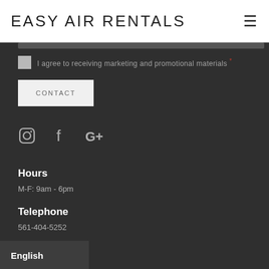EASY AIR RENTALS
I agree to receiving marketing and promotional materials *
CONTACT
[Figure (illustration): Social media icons: Instagram, Facebook, Google+]
Hours
M-F: 9am - 6pm
Telephone
561-404-5252
Email
airrentals.com
English